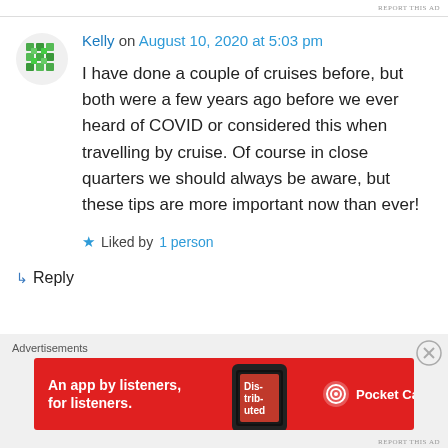REPORT THIS AD
Kelly on August 10, 2020 at 5:03 pm
I have done a couple of cruises before, but both were a few years ago before we ever heard of COVID or considered this when travelling by cruise. Of course in close quarters we should always be aware, but these tips are more important now than ever!
Liked by 1 person
Reply
[Figure (screenshot): Advertisement banner for Pocket Casts app: red background with text 'An app by listeners, for listeners.' and Pocket Casts logo]
REPORT THIS AD